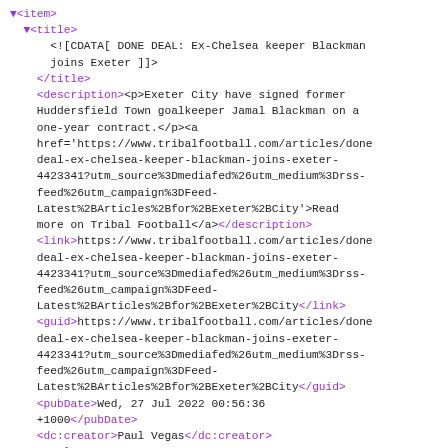▼<item>
  ▼<title>
      <![CDATA[ DONE DEAL: Ex-Chelsea keeper Blackman
      joins Exeter ]]>
    </title>
    <description><p>Exeter City have signed former
    Huddersfield Town goalkeeper Jamal Blackman on a
    one-year contract.</p><a
    href='https://www.tribalfootball.com/articles/done
    deal-ex-chelsea-keeper-blackman-joins-exeter-
    4423341?utm_source%3Dmediafed%26utm_medium%3Drss-
    feed%26utm_campaign%3DFeed-
    Latest%2BArticles%2Bfor%2BExeter%2BCity'>Read
    more on Tribal Football</a></description>
    <link>https://www.tribalfootball.com/articles/done
    deal-ex-chelsea-keeper-blackman-joins-exeter-
    4423341?utm_source%3Dmediafed%26utm_medium%3Drss-
    feed%26utm_campaign%3DFeed-
    Latest%2BArticles%2Bfor%2BExeter%2BCity</link>
    <guid>https://www.tribalfootball.com/articles/done
    deal-ex-chelsea-keeper-blackman-joins-exeter-
    4423341?utm_source%3Dmediafed%26utm_medium%3Drss-
    feed%26utm_campaign%3DFeed-
    Latest%2BArticles%2Bfor%2BExeter%2BCity</guid>
    <pubDate>Wed, 27 Jul 2022 00:56:36
    +1000</pubDate>
    <dc:creator>Paul Vegas</dc:creator>
    <enclosure
    url="https://images.tribalfootball.com/default/000
    type="image/jpeg" length="667753"/>